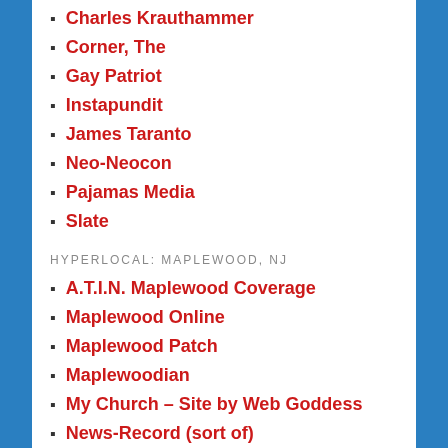Charles Krauthammer
Corner, The
Gay Patriot
Instapundit
James Taranto
Neo-Neocon
Pajamas Media
Slate
HYPERLOCAL: MAPLEWOOD, NJ
A.T.I.N. Maplewood Coverage
Maplewood Online
Maplewood Patch
Maplewoodian
My Church – Site by Web Goddess
News-Record (sort of)
NY Times Maplewood Blog (Archive)
FRIENDS WITH BLOGS
All That Is Necessary, The OTHER